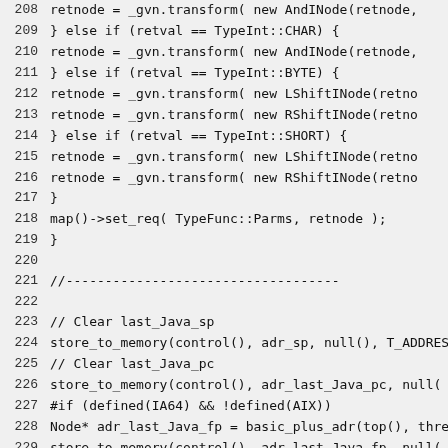Source code listing, lines 208-238, C++ compiler/JIT code
208    retnode = _gvn.transform( new AndINode(retnode,
209    } else if (retval == TypeInt::CHAR) {
210        retnode = _gvn.transform( new AndINode(retnode,
211    } else if (retval == TypeInt::BYTE) {
212        retnode = _gvn.transform( new LShiftINode(retno
213        retnode = _gvn.transform( new RShiftINode(retno
214    } else if (retval == TypeInt::SHORT) {
215        retnode = _gvn.transform( new LShiftINode(retno
216        retnode = _gvn.transform( new RShiftINode(retno
217    }
218    map()->set_req( TypeFunc::Parms, retnode );
219  }
220
221    //-----------------------------------
222
223    // Clear last_Java_sp
224    store_to_memory(control(), adr_sp, null(), T_ADDRES
225    // Clear last_Java_pc
226    store_to_memory(control(), adr_last_Java_pc, null(
227  #if (defined(IA64) && !defined(AIX))
228    Node* adr_last_Java_fp = basic_plus_adr(top(), thre
229    store_to_memory(control(), adr_last_Java_fp, null(
230  #endif
231
232    // For is-fancy-jump, the C-return value is also th
233    Node* target = map()->in(TypeFunc::Parms);
234    // Runtime call returning oop in TLS?  Fetch it out
235    if( pass_tls ) {
236        Node* adr = basic_plus_adr(top(), thread, in_byte
237        Node* vm_result = make_load(NULL, adr, TypeOopPtr
238        map()->set_req(TypeFunc::Parms, vm_result); //(m